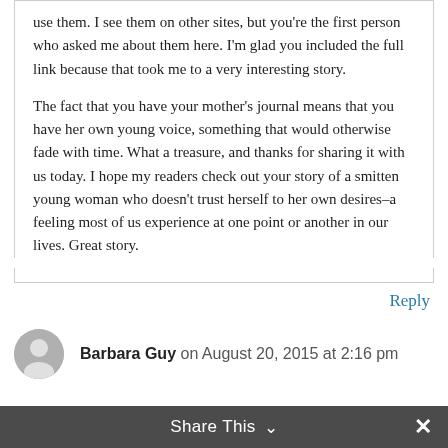use them. I see them on other sites, but you're the first person who asked me about them here. I'm glad you included the full link because that took me to a very interesting story.
The fact that you have your mother's journal means that you have her own young voice, something that would otherwise fade with time. What a treasure, and thanks for sharing it with us today. I hope my readers check out your story of a smitten young woman who doesn't trust herself to her own desires–a feeling most of us experience at one point or another in our lives. Great story.
Reply
Barbara Guy on August 20, 2015 at 2:16 pm
Share This